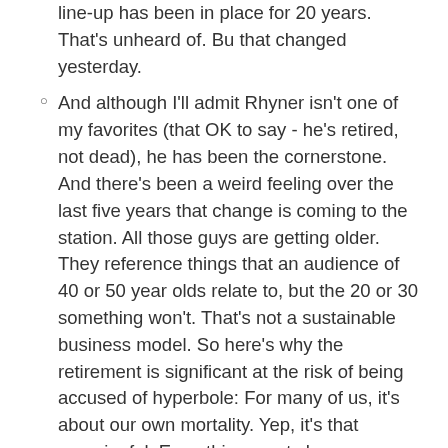line-up has been in place for 20 years. That's unheard of. Bu that changed yesterday.
And although I'll admit Rhyner isn't one of my favorites (that OK to say - he's retired, not dead), he has been the cornerstone. And there's been a weird feeling over the last five years that change is coming to the station. All those guys are getting older. They reference things that an audience of 40 or 50 year olds relate to, but the 20 or 30 something won't. That's not a sustainable business model. So here's why the retirement is significant at the risk of being accused of hyperbole: For many of us, it's about our own mortality. Yep, it's that meaningful. Everything must change. Everything must end.